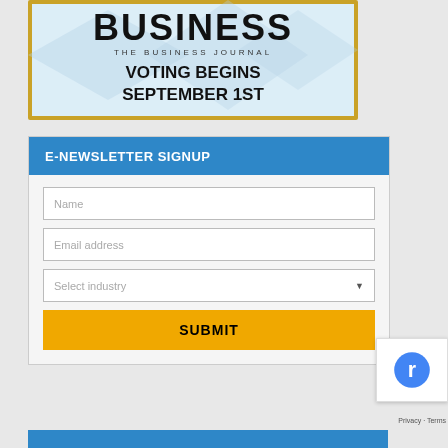[Figure (illustration): Business journal banner with gold border, light blue geometric background, large bold 'BUSINESS' text with 'THE BUSINESS JOURNAL' subtitle, and text 'VOTING BEGINS SEPTEMBER 1ST']
E-NEWSLETTER SIGNUP
Name
Email address
Select industry
SUBMIT
Privacy · Terms